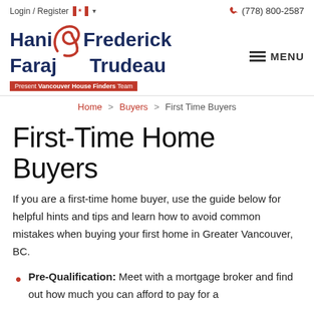Login / Register  🍁 ∨   (778) 800-2587
[Figure (logo): Hani & Frederick Faraj & Trudeau logo with red ampersand swoosh and tagline 'Present Vancouver House Finders Team']
MENU
Home > Buyers > First Time Buyers
First-Time Home Buyers
If you are a first-time home buyer, use the guide below for helpful hints and tips and learn how to avoid common mistakes when buying your first home in Greater Vancouver, BC.
Pre-Qualification: Meet with a mortgage broker and find out how much you can afford to pay for a